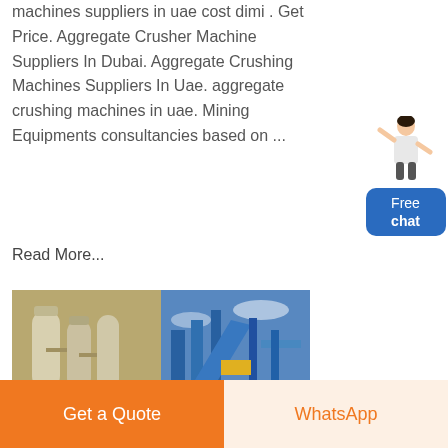machines suppliers in uae cost dimi . Get Price. Aggregate Crusher Machine Suppliers In Dubai. Aggregate Crushing Machines Suppliers In Uae. aggregate crushing machines in uae. Mining Equipments consultancies based on ...
Read More...
[Figure (illustration): Chat widget with a female figure and a blue 'Free chat' button]
[Figure (photo): Two side-by-side industrial photos: left shows industrial silos/tanks, right shows blue metal conveyor/crusher machinery against a blue sky]
Get a Quote
WhatsApp